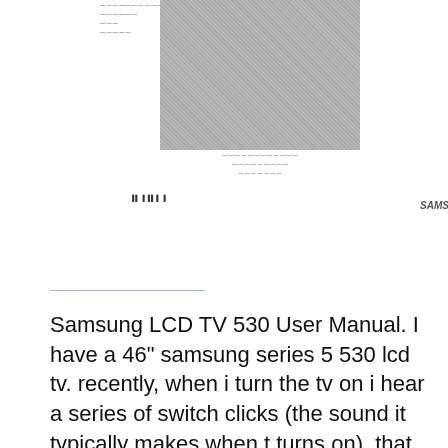[Figure (screenshot): Thumbnail of a Samsung LCD TV user manual cover page with a noisy/grainy TV screen image and small text]
Samsung LCD TV 530 User Manual. I have a 46" samsung series 5 530 lcd tv. recently, when i turn the tv on i hear a series of switch clicks (the sound it typically makes when t turns on), that lasts over 5 minutes before the tv actually turns on. It's as if the tv is turning on and off over and over. there is about a 10 second delay between clicks. What do you think the problem is., User Manual (English) e-Manual (English) User Manual (English) User Manual (English) User